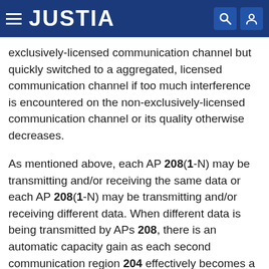JUSTIA
exclusively-licensed communication channel but quickly switched to a aggregated, licensed communication channel if too much interference is encountered on the non-exclusively-licensed communication channel or its quality otherwise decreases.
As mentioned above, each AP 208(1-N) may be transmitting and/or receiving the same data or each AP 208(1-N) may be transmitting and/or receiving different data. When different data is being transmitted by APs 208, there is an automatic capacity gain as each second communication region 204 effectively becomes a mini-cell. With the same data being transmitted by APs 208, capacity is not automatically increased. However, a diversity gain can result, especially in overlapping boundary regions such as boundary region 1010 (of FIG. 10).